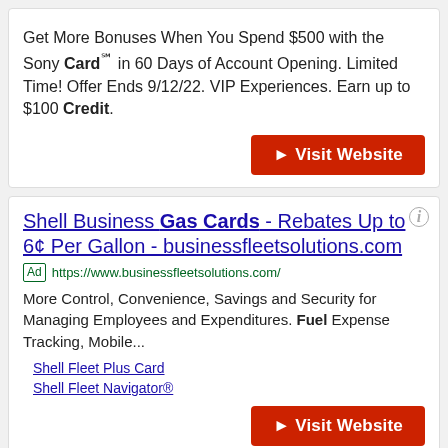Get More Bonuses When You Spend $500 with the Sony Card℠ in 60 Days of Account Opening. Limited Time! Offer Ends 9/12/22. VIP Experiences. Earn up to $100 Credit.
► Visit Website
Shell Business Gas Cards - Rebates Up to 6¢ Per Gallon - businessfleetsolutions.com
Ad https://www.businessfleetsolutions.com/
More Control, Convenience, Savings and Security for Managing Employees and Expenditures. Fuel Expense Tracking, Mobile...
Shell Fleet Plus Card
Shell Fleet Navigator®
► Visit Website
CONTACT US | allcouponsin@hotmail.com | ABOUT US | About Discountscat